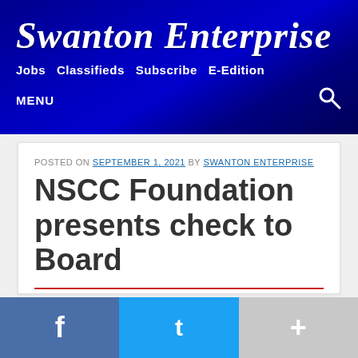Swanton Enterprise
Jobs  Classifieds  Subscribe  E-Edition
MENU
POSTED ON SEPTEMBER 1, 2021 BY SWANTON ENTERPRISE
NSCC Foundation presents check to Board
NEWS